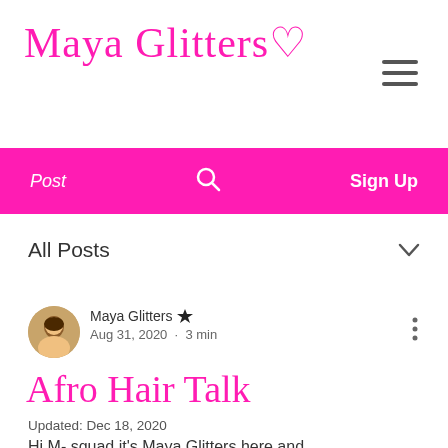Maya Glitters♡
[Figure (other): Hamburger menu icon (three horizontal lines)]
[Figure (other): Pink navigation bar with Post, search icon, and Sign Up]
Post
Sign Up
All Posts
[Figure (photo): Circular avatar photo of Maya Glitters]
Maya Glitters 👑
Aug 31, 2020 · 3 min
Afro Hair Talk
Updated: Dec 18, 2020
Hi M- squad it's Maya Glitters here and